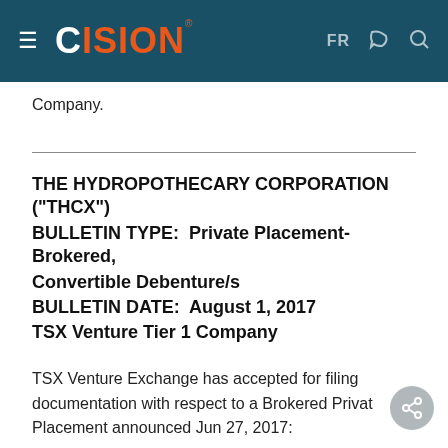CISION — FR
Company.
THE HYDROPOTHECARY CORPORATION ("THCX")
BULLETIN TYPE:  Private Placement-Brokered, Convertible Debenture/s
BULLETIN DATE:  August 1, 2017
TSX Venture Tier 1 Company
TSX Venture Exchange has accepted for filing documentation with respect to a Brokered Private Placement announced Jun 27, 2017: